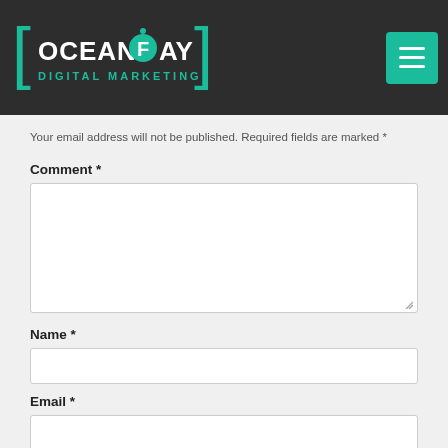Leave a Reply
[Figure (logo): OceansFay Digital Marketing logo on dark background with teal F icon, with hamburger menu button]
Your email address will not be published. Required fields are marked *
Comment *
[Figure (screenshot): Comment textarea input box]
Name *
[Figure (screenshot): Name text input box]
Email *
[Figure (screenshot): Email text input box]